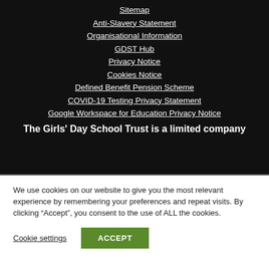Sitemap
Anti-Slavery Statement
Organisational Information
GDST Hub
Privacy Notice
Cookies Notice
Defined Benefit Pension Scheme
COVID-19 Testing Privacy Statement
Google Workspace for Education Privacy Notice
The Girls' Day School Trust is a limited company
We use cookies on our website to give you the most relevant experience by remembering your preferences and repeat visits. By clicking “Accept”, you consent to the use of ALL the cookies.
Cookie settings
ACCEPT